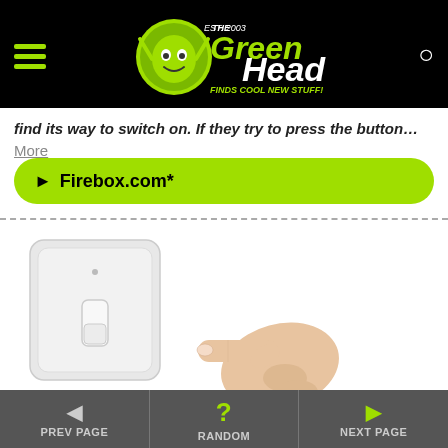The Green Head - Finds Cool New Stuff!
...find its way to switch on. If they try to press the button... More
► Firebox.com*
[Figure (photo): A white light switch panel with a toggle switch in the down/off position, and a human hand reaching toward it from the right side, about to flip the switch.]
◄ PREV PAGE  ? RANDOM  ► NEXT PAGE